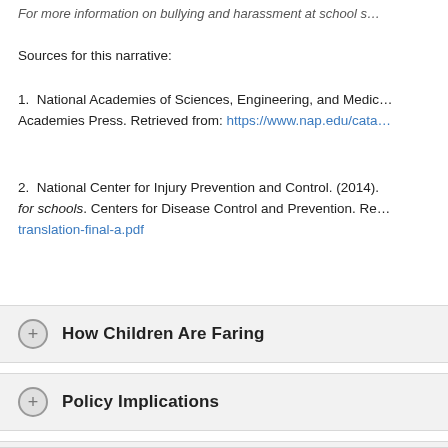For more information on bullying and harassment at school s…
Sources for this narrative:
1.  National Academies of Sciences, Engineering, and Medicine. Academies Press. Retrieved from: https://www.nap.edu/cata…
2.  National Center for Injury Prevention and Control. (2014). for schools. Centers for Disease Control and Prevention. Retrieved from: translation-final-a.pdf
How Children Are Faring
Policy Implications
Research & Links